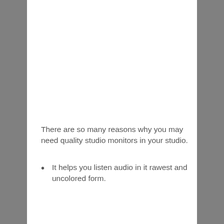There are so many reasons why you may need quality studio monitors in your studio.
It helps you listen audio in it rawest and uncolored form.